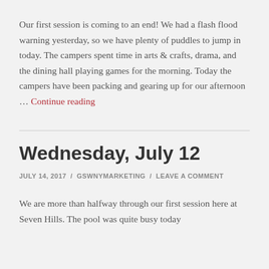Our first session is coming to an end! We had a flash flood warning yesterday, so we have plenty of puddles to jump in today. The campers spent time in arts & crafts, drama, and the dining hall playing games for the morning. Today the campers have been packing and gearing up for our afternoon … Continue reading
Wednesday, July 12
JULY 14, 2017 / GSWNYMARKETING / LEAVE A COMMENT
We are more than halfway through our first session here at Seven Hills. The pool was quite busy today